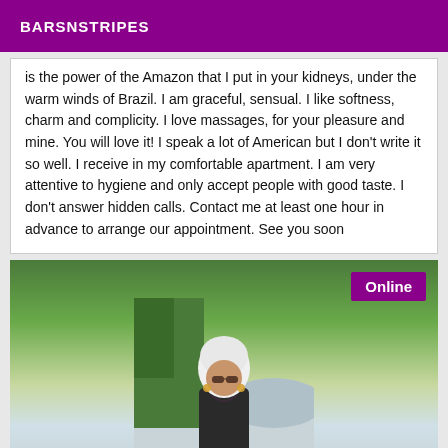BARSNSTRIPES
is the power of the Amazon that I put in your kidneys, under the warm winds of Brazil. I am graceful, sensual. I like softness, charm and complicity. I love massages, for your pleasure and mine. You will love it! I speak a lot of American but I don't write it so well. I receive in my comfortable apartment. I am very attentive to hygiene and only accept people with good taste. I don't answer hidden calls. Contact me at least one hour in advance to arrange our appointment. See you soon
[Figure (photo): Woman wearing white head wrap and sunglasses, seated outdoors near pine tree with lake and mountains in background. Online badge shown in top-right corner.]